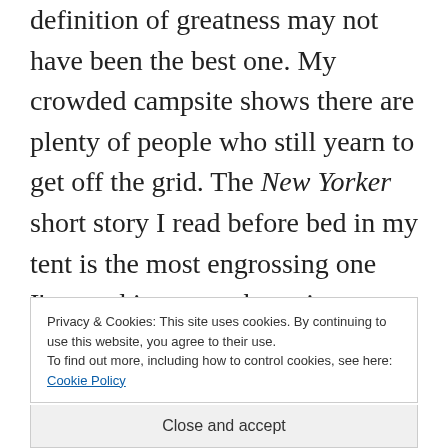definition of greatness may not have been the best one. My crowded campsite shows there are plenty of people who still yearn to get off the grid. The New Yorker short story I read before bed in my tent is the most engrossing one I've read in years; the written word isn't dead yet. The Yankees may be out of the playoffs, but their immediate future still looks pretty bright. We will have a hockey season
Privacy & Cookies: This site uses cookies. By continuing to use this website, you agree to their use. To find out more, including how to control cookies, see here: Cookie Policy
Close and accept
To see the mountaintop is not enough: